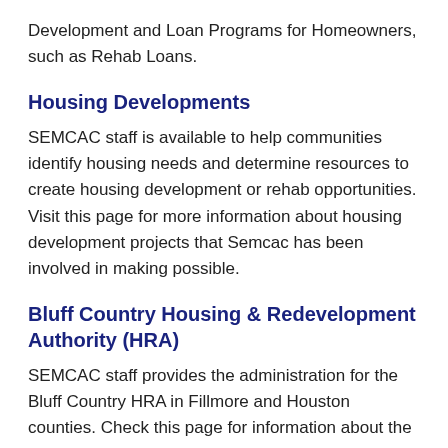Development and Loan Programs for Homeowners, such as Rehab Loans.
Housing Developments
SEMCAC staff is available to help communities identify housing needs and determine resources to create housing development or rehab opportunities. Visit this page for more information about housing development projects that Semcac has been involved in making possible.
Bluff Country Housing & Redevelopment Authority (HRA)
SEMCAC staff provides the administration for the Bluff Country HRA in Fillmore and Houston counties. Check this page for information about the Bluff Country HRA Board meetings; Housing developments in Spring Grove, Preston, and Houston; Housing Studies results.